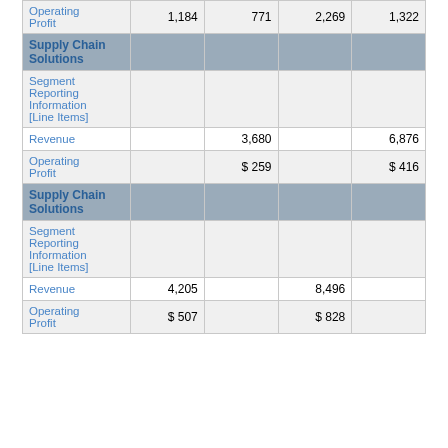|  |  |  |  |  |
| --- | --- | --- | --- | --- |
| Operating Profit | 1,184 | 771 | 2,269 | 1,322 |
| Supply Chain Solutions |  |  |  |  |
| Segment Reporting Information [Line Items] |  |  |  |  |
| Revenue |  | 3,680 |  | 6,876 |
| Operating Profit |  | $ 259 |  | $ 416 |
| Supply Chain Solutions |  |  |  |  |
| Segment Reporting Information [Line Items] |  |  |  |  |
| Revenue | 4,205 |  | 8,496 |  |
| Operating Profit | $ 507 |  | $ 828 |  |